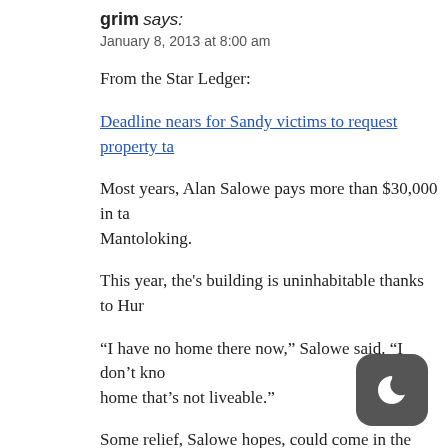grim says:
January 8, 2013 at 8:00 am
From the Star Ledger:
Deadline nears for Sandy victims to request property ta…
Most years, Alan Salowe pays more than $30,000 in ta… Mantoloking.
This year, the's building is uninhabitable thanks to Hur…
“I have no home there now,” Salowe said. “I don’t kno… home that’s not liveable.”
Some relief, Salowe hopes, could come in the form of a… ease the tax burden of hurricane victims.
Disaster-struck homeowners have only two more days…